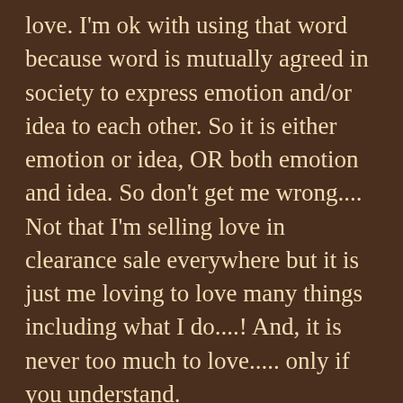love. I'm ok with using that word because word is mutually agreed in society to express emotion and/or idea to each other. So it is either emotion or idea, OR both emotion and idea. So don't get me wrong.... Not that I'm selling love in clearance sale everywhere but it is just me loving to love many things including what I do....! And, it is never too much to love..... only if you understand.
Some people say:
I love reading
I love apple
I love my country